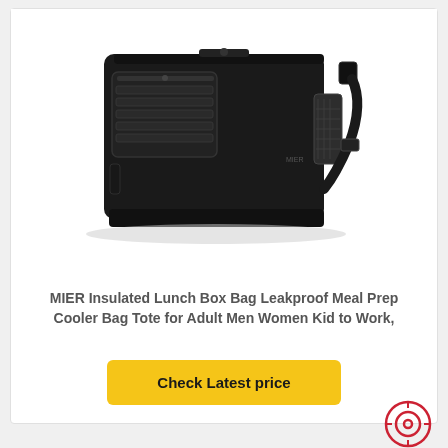[Figure (photo): Black insulated lunch box bag with shoulder strap, MIER brand, shown on white background]
MIER Insulated Lunch Box Bag Leakproof Meal Prep Cooler Bag Tote for Adult Men Women Kid to Work,
Check Latest price
Best Tactical Lunch Box